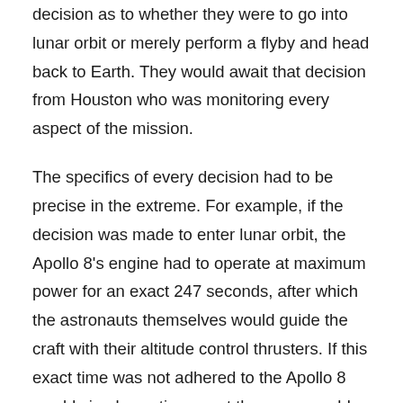decision as to whether they were to go into lunar orbit or merely perform a flyby and head back to Earth. They would await that decision from Houston who was monitoring every aspect of the mission.
The specifics of every decision had to be precise in the extreme. For example, if the decision was made to enter lunar orbit, the Apollo 8's engine had to operate at maximum power for an exact 247 seconds, after which the astronauts themselves would guide the craft with their altitude control thrusters. If this exact time was not adhered to the Apollo 8 would simply continue past the moon unable to return to Earth, or it would simply smash into the lunar surface. Perhaps ironically, if the thrusters outright failed, the Apollo 8 would be presented with the safest scenario in that it would simply circulate the moon